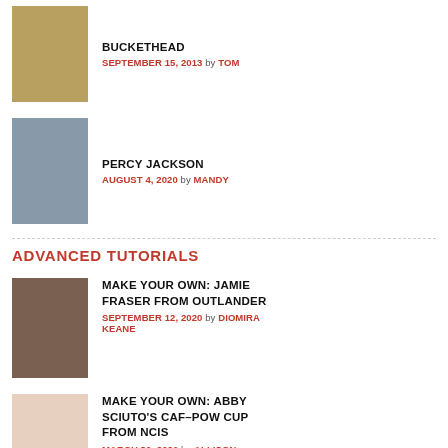BUCKETHEAD — SEPTEMBER 15, 2013 by TOM
PERCY JACKSON — AUGUST 4, 2020 by MANDY
ADVANCED TUTORIALS
MAKE YOUR OWN: JAMIE FRASER FROM OUTLANDER — SEPTEMBER 12, 2020 by DIOMIRA KEANE
MAKE YOUR OWN: ABBY SCIUTO'S CAF-POW CUP FROM NCIS — MARCH 30, 2020 by ALLISON
MAKE YOUR OWN: QUIN FROM